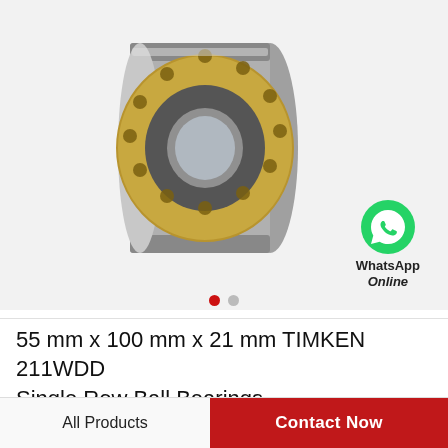[Figure (photo): A cylindrical ball bearing (TIMKEN 211WDD) shown in perspective view. The bearing has a metallic gray outer ring with a gold/brass-colored ball retainer cage visible on the face, and a silver inner ring. Multiple ball bearings are visible through the cage openings.]
[Figure (logo): WhatsApp green circular icon with white phone handset, labeled 'WhatsApp Online' below]
55 mm x 100 mm x 21 mm TIMKEN 211WDD Single Row Ball Bearings
All Products
Contact Now